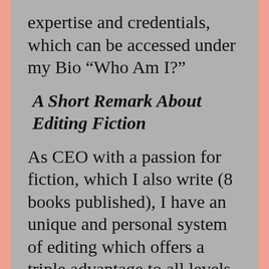expertise and credentials, which can be accessed under my Bio “Who Am I?”
A Short Remark About Editing Fiction
As CEO with a passion for fiction, which I also write (8 books published), I have an unique and personal system of editing which offers a triple advantage to all levels of authors from the first-time author to the seasoned professional. I only go into the specific details of my own system when an author has chosen my special services